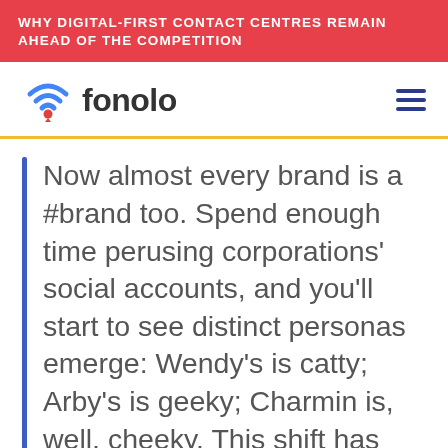WHY DIGITAL-FIRST CONTACT CENTRES REMAIN AHEAD OF THE COMPETITION
[Figure (logo): Fonolo logo with wifi/location icon and hamburger menu icon]
Now almost every brand is a #brand too. Spend enough time perusing corporations’ social accounts, and you’ll start to see distinct personas emerge: Wendy’s is catty; Arby’s is geeky; Charmin is, well, cheeky. This shift has ushered in a whole new job